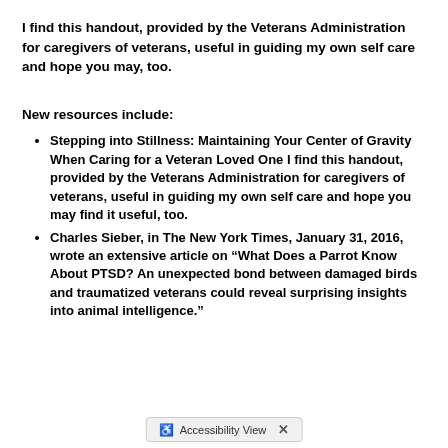I find this handout, provided by the Veterans Administration for caregivers of veterans, useful in guiding my own self care and hope you may, too.
New resources include:
Stepping into Stillness: Maintaining Your Center of Gravity When Caring for a Veteran Loved One I find this handout, provided by the Veterans Administration for caregivers of veterans, useful in guiding my own self care and hope you may find it useful, too.
Charles Sieber, in The New York Times, January 31, 2016, wrote an extensive article on “What Does a Parrot Know About PTSD? An unexpected bond between damaged birds and traumatized veterans could reveal surprising insights into animal intelligence.”